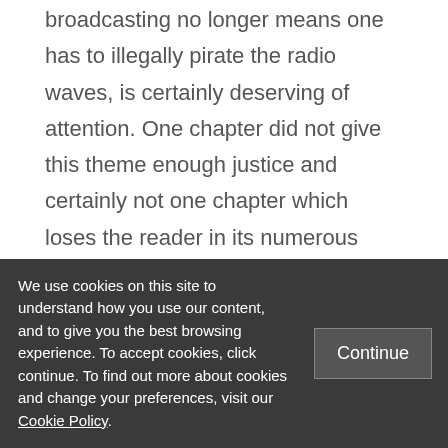broadcasting no longer means one has to illegally pirate the radio waves, is certainly deserving of attention. One chapter did not give this theme enough justice and certainly not one chapter which loses the reader in its numerous statistics.

A transcript of Hillary Clinton in a Select Committee session on Al Jazeera is also featured. When reading the book cover to
We use cookies on this site to understand how you use our content, and to give you the best browsing experience. To accept cookies, click continue. To find out more about cookies and change your preferences, visit our Cookie Policy.